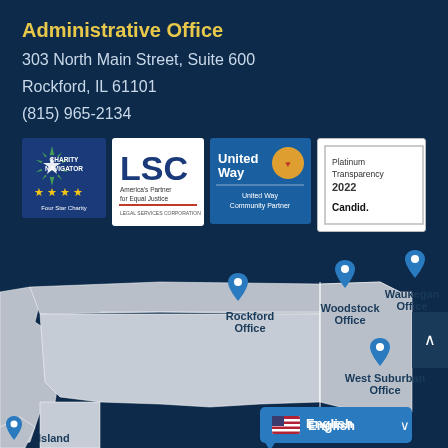Administrative Office
303 North Main Street, Suite 600
Rockford, IL 61101
(815) 965-2134
[Figure (logo): Charity Navigator Four Star Charity logo]
[Figure (logo): LSC America's Partner for Equal Justice - Legal Services Corporation logo]
[Figure (logo): United Way Community Partner logo]
[Figure (logo): Platinum Transparency 2022 Candid logo]
[Figure (map): Map showing office locations: Rockford Office, Woodstock Office, Waukegan Office, West Suburban Office, and Island office location with map pins]
English